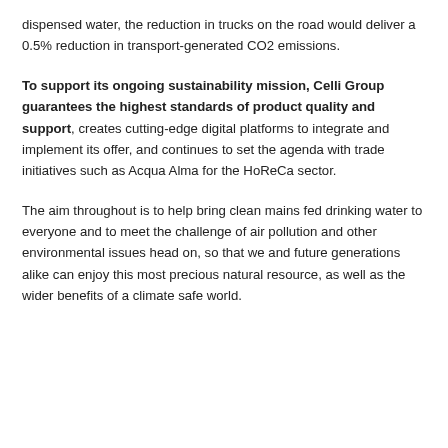dispensed water, the reduction in trucks on the road would deliver a 0.5% reduction in transport-generated CO2 emissions.
To support its ongoing sustainability mission, Celli Group guarantees the highest standards of product quality and support, creates cutting-edge digital platforms to integrate and implement its offer, and continues to set the agenda with trade initiatives such as Acqua Alma for the HoReCa sector.
The aim throughout is to help bring clean mains fed drinking water to everyone and to meet the challenge of air pollution and other environmental issues head on, so that we and future generations alike can enjoy this most precious natural resource, as well as the wider benefits of a climate safe world.